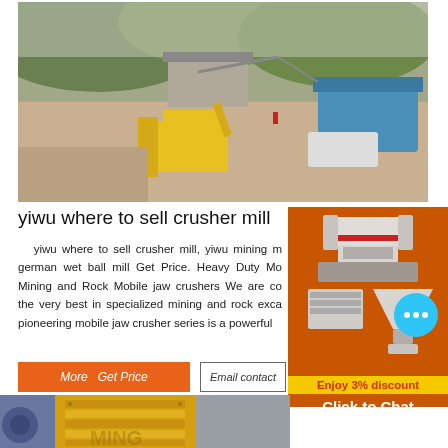[Figure (photo): Outdoor mining/quarry site with yellow excavator/bulldozer, construction machinery, rocky hillside with green vegetation, and blue industrial equipment in background.]
yiwu where to sell crusher mill
yiwu where to sell crusher mill, yiwu mining m german wet ball mill Get Price. Heavy Duty Mo Mining and Rock Mobile jaw crushers We are co the very best in specialized mining and rock exca pioneering mobile jaw crusher series is a powerful
[Figure (photo): Sidebar advertisement on orange background showing images of mining crusher machines and mill equipment.]
Enjoy 3% discount
Click to Chat
Enquiry
[Figure (photo): Close-up photo of yellow industrial jaw crusher machine with another machine partially visible on the left, logo partially visible at bottom reading MING.]